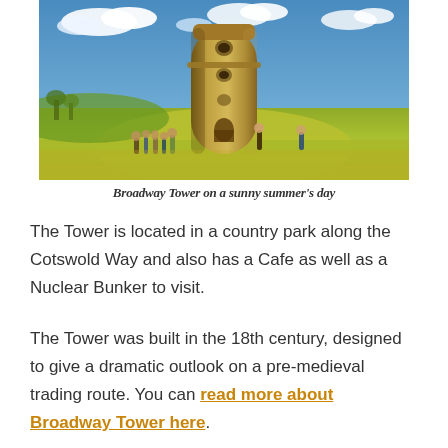[Figure (photo): Photograph of Broadway Tower, a tall round stone folly tower on a grassy hilltop under a blue sky with white clouds. Tourists are visible at the base of the tower. The surrounding landscape is visible in the distance.]
Broadway Tower on a sunny summer's day
The Tower is located in a country park along the Cotswold Way and also has a Cafe as well as a Nuclear Bunker to visit.
The Tower was built in the 18th century, designed to give a dramatic outlook on a pre-medieval trading route. You can read more about Broadway Tower here.